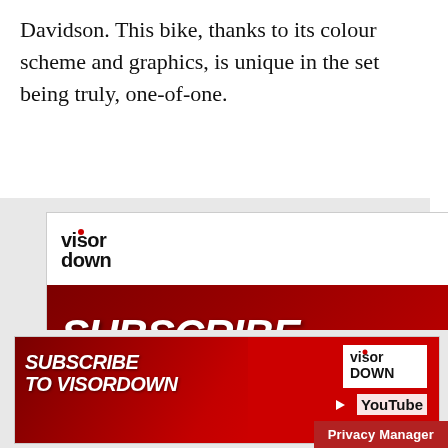Davidson. This bike, thanks to its colour scheme and graphics, is unique in the set being truly, one-of-one.
[Figure (screenshot): Visordown YouTube advertisement banner with red background, bold white italic text reading 'SUBSCRIBE TO VISORDOWN FOR THE LATEST BIKE', featuring Visordown logo and YouTube logo on white top bar, with motorcycle silhouette overlay.]
[Figure (screenshot): Second Visordown YouTube advertisement banner with red background, bold white italic text reading 'SUBSCRIBE TO VISORDOWN', Visordown logo and YouTube logo on the right side, with motorcycle silhouette overlay.]
Privacy Manager